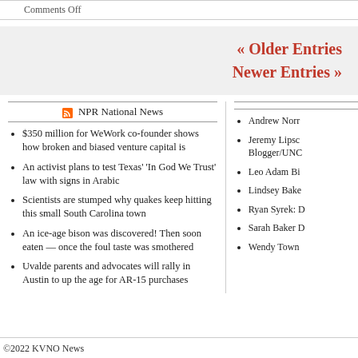Comments Off
« Older Entries
Newer Entries »
NPR National News
$350 million for WeWork co-founder shows how broken and biased venture capital is
An activist plans to test Texas' 'In God We Trust' law with signs in Arabic
Scientists are stumped why quakes keep hitting this small South Carolina town
An ice-age bison was discovered! Then soon eaten — once the foul taste was smothered
Uvalde parents and advocates will rally in Austin to up the age for AR-15 purchases
Andrew Norr
Jeremy Lipsc Blogger/UNO
Leo Adam Bi
Lindsey Bake
Ryan Syrek: D
Sarah Baker D
Wendy Town
©2022 KVNO News